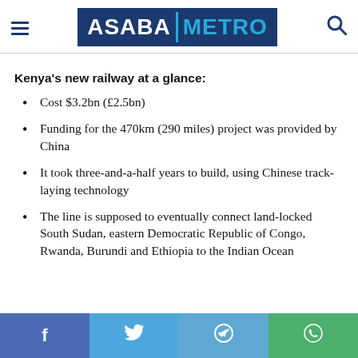ASABA METRO
Kenya's new railway at a glance:
Cost $3.2bn (£2.5bn)
Funding for the 470km (290 miles) project was provided by China
It took three-and-a-half years to build, using Chinese track-laying technology
The line is supposed to eventually connect land-locked South Sudan, eastern Democratic Republic of Congo, Rwanda, Burundi and Ethiopia to the Indian Ocean
f  Twitter  Telegram  WhatsApp